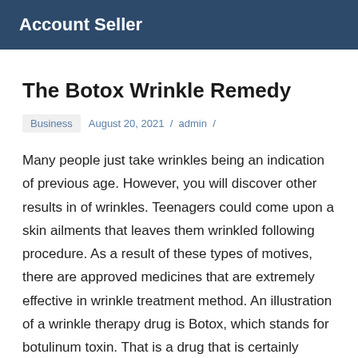Account Seller
The Botox Wrinkle Remedy
Business   August 20, 2021 / admin /
Many people just take wrinkles being an indication of previous age. However, you will discover other results in of wrinkles. Teenagers could come upon a skin ailments that leaves them wrinkled following procedure. As a result of these types of motives, there are approved medicines that are extremely effective in wrinkle treatment method. An illustration of a wrinkle therapy drug is Botox, which stands for botulinum toxin. That is a drug that is certainly formulated, analyzed and